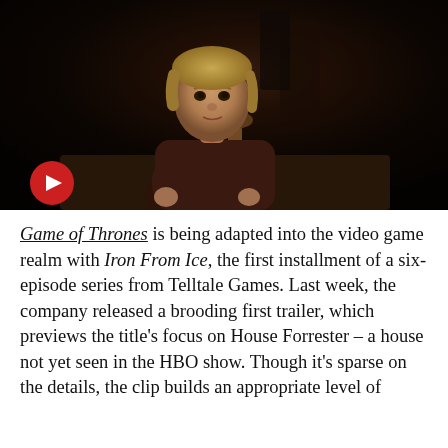[Figure (screenshot): Dark video game screenshot showing a 3D animated character resembling Tyrion Lannister from Game of Thrones, seated at a table holding a chalice. The scene is dark and moody. A red circular play button is visible in the lower left corner of the image.]
Game of Thrones is being adapted into the video game realm with Iron From Ice, the first installment of a six-episode series from Telltale Games. Last week, the company released a brooding first trailer, which previews the title's focus on House Forrester – a house not yet seen in the HBO show. Though it's sparse on the details, the clip builds an appropriate level of